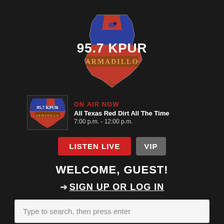[Figure (logo): 95.7 KPUR Armadillo radio station logo with Texas state outline in blue and red, armadillo graphic, and stylized text '95.7 KPUR ARMADILLO']
ON AIR NOW
All Texas Red Dirt All The Time
7:00 p.m. - 12:00 p.m.
LISTEN LIVE   VIP
WELCOME, GUEST!
➔ SIGN UP OR LOG IN
Type to search, then press enter